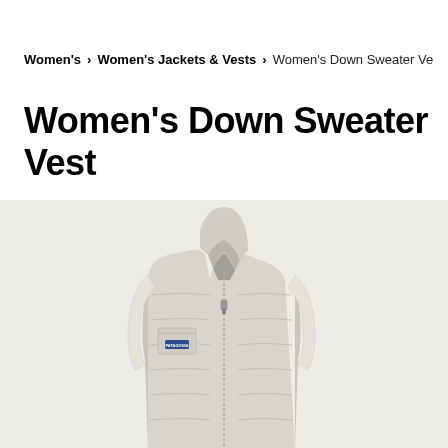Women's > Women's Jackets & Vests > Women's Down Sweater Ve
Women's Down Sweater Vest
[Figure (photo): A women's down sweater vest in a light beige/birch color with a stand-up collar, quilted baffles, zip front, and a small chest pocket with a blue Patagonia logo label. Shown on a light gray background.]